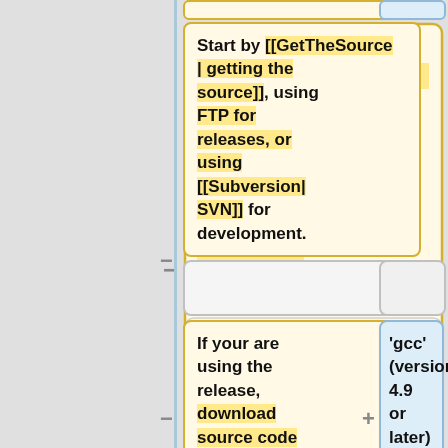[Figure (flowchart): A flowchart showing two tracks of instructions. Left track (yellow boxes): First box contains 'Start by [[GetTheSource | getting the source]], using FTP for releases, or using [[Subversion|SVN]] for development.' Second yellow box contains 'If your are using the release, download source code and extract the archive and go into your VLC directory.' Right track (blue box): '''gcc''' (version 4.9 or later) is recommended, but '''clang/LLVM''' are known to work as well. Connector symbols: minus (-) on the left of boxes, plus (+) on the right. Partial blank boxes visible at top and middle.]